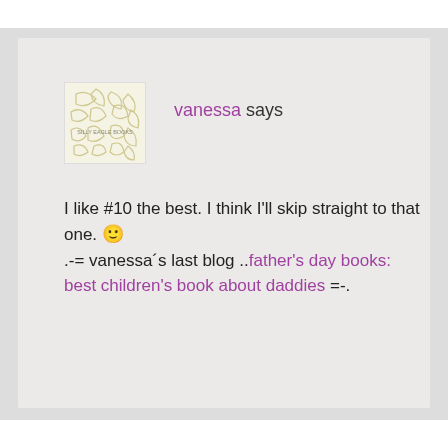vanessa says
I like #10 the best. I think I'll skip straight to that one. 🙂
.-= vanessa´s last blog ..father's day books: best children's book about daddies =-.